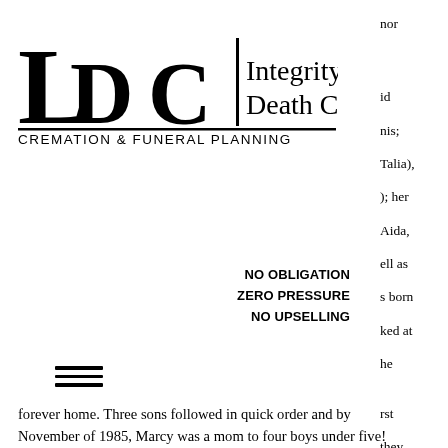[Figure (logo): Integrity Death Care logo — large stylized LDC letters with vertical bar, followed by 'Integrity Death Care' in serif text, and 'CREMATION & FUNERAL PLANNING' in sans-serif caps below]
id
nis;
Talia),
); her
Aida,
ell as
s born
ked at
he
NO OBLIGATION
ZERO PRESSURE
NO UPSELLING
rst
they
eir
forever home. Three sons followed in quick order and by November of 1985, Marcy was a mom to four boys under five! Throughout her adult life, Marcy had a variety of careers. She started as an elementary teacher. After taking a period of time off to raise her boys, she became the teacher/director of a preschool, even teaching her own boys. Later, she took a part-time job as a clerk